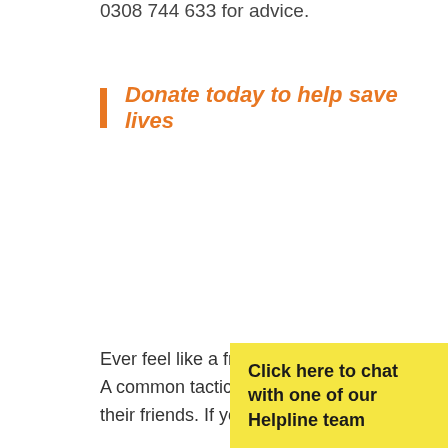0308 744 633 for advice.
Donate today to help save lives
Ever feel like a friend is avoiding you?
A common tactic in abuse is to i...
their friends. If your friend is alw...
Click here to chat with one of our Helpline team